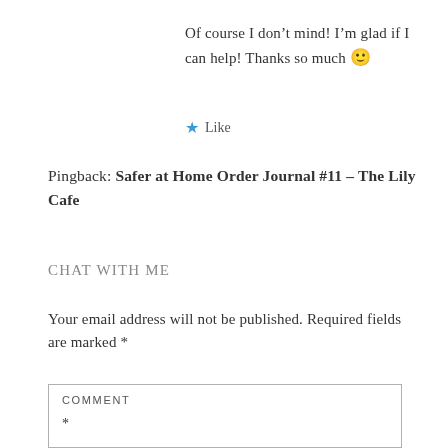[Figure (photo): Partial circular avatar/profile photo at top center, dark brown tones, only bottom portion visible]
Of course I don't mind! I'm glad if I can help! Thanks so much 🙂
★ Like
Pingback: Safer at Home Order Journal #11 – The Lily Cafe
Chat with me
Your email address will not be published. Required fields are marked *
COMMENT *